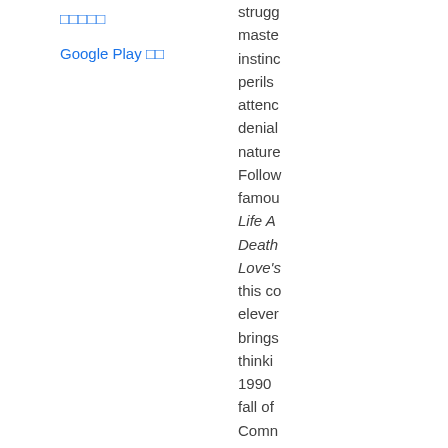□□□□□
Google Play □□
strugg master instinc perils attenc denial nature Follow famou Life A Death Love's this co eleve brings thinki 1990 fall of Comm Easte
Brown that "t